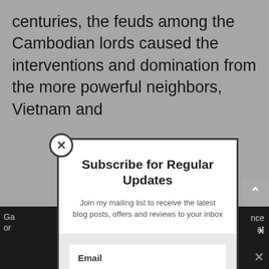centuries, the feuds among the Cambodian lords caused the interventions and domination from the more powerful neighbors, Vietnam and
Subscribe for Regular Updates
Join my mailing list to receive the latest blog posts, offers and reviews to your inbox
Email
SUBSCRIBE!
Share This ∨